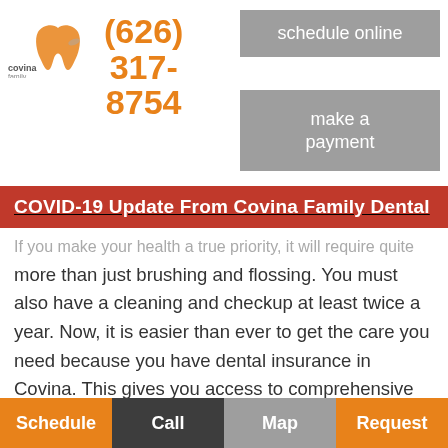[Figure (logo): Covina Family Dental logo with tooth icon]
(626) 317-8754
schedule online
make a payment
COVID-19 Update From Covina Family Dental
If you make your health a true priority, it will require quite more than just brushing and flossing. You must also have a cleaning and checkup at least twice a year. Now, it is easier than ever to get the care you need because you have dental insurance in Covina. This gives you access to comprehensive coverage to keep your teeth and gums healthy for affordable rates. At Covina Family Dental, we proudly accept your insurance to help you reach your
Schedule  Call  Map  Request